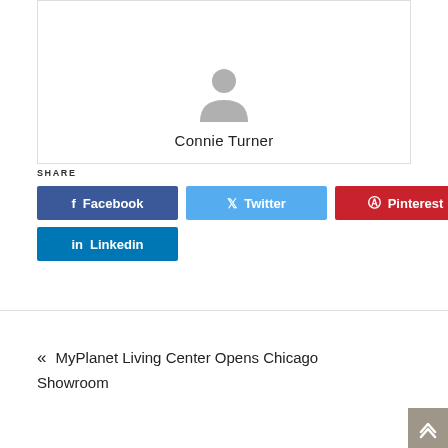[Figure (photo): Default avatar placeholder image (gray silhouette of a person) and author name 'Connie Turner' inside a bordered card]
Connie Turner
SHARE
Facebook
Twitter
Pinterest
Linkedin
« MyPlanet Living Center Opens Chicago Showroom